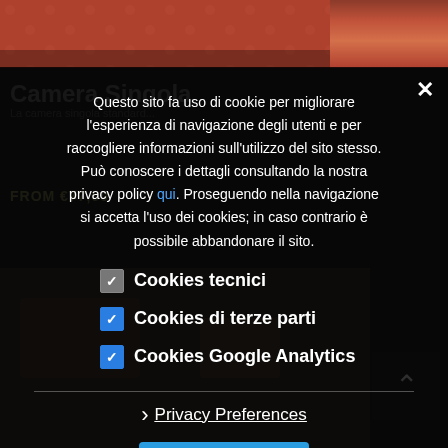[Figure (photo): Top portion of a hotel room photo showing red patterned bedding, partially visible]
Questo sito fa uso di cookie per migliorare l'esperienza di navigazione degli utenti e per raccogliere informazioni sull'utilizzo del sito stesso. Può conoscere i dettagli consultando la nostra privacy policy qui. Proseguendo nella navigazione si accetta l'uso dei cookies; in caso contrario è possibile abbandonare il sito.
Cookies tecnici
Cookies di terze parti
Cookies Google Analytics
› Privacy Preferences
I Agree